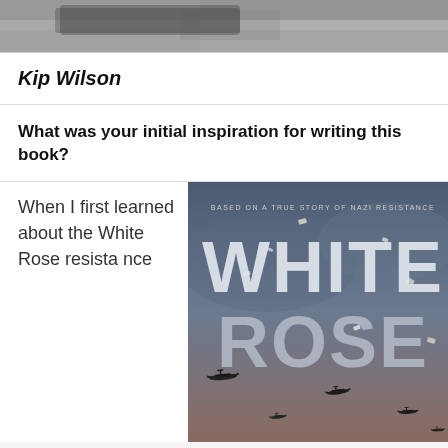[Figure (photo): Partial top image showing what appears to be a dark object on a light surface, cropped at the top of the page]
Kip Wilson
What was your initial inspiration for writing this book?
When I first learned about the White Rose resistance
[Figure (photo): Book cover of 'White Rose' — dark blue-grey background with WWII bomber planes silhouetted, large text 'WHITE ROSE' with scattered paper confetti, subtitle 'BASED ON A TRUE STORY OF NAZI RESISTANCE']